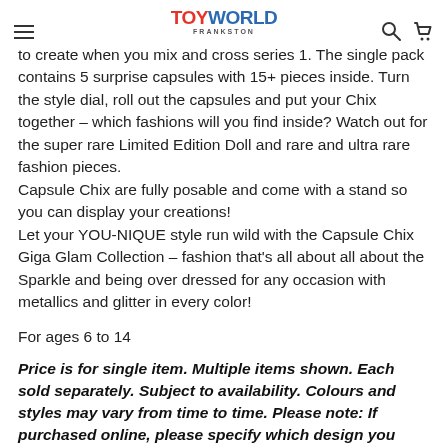TOYWORLD FRANKSTON
to create when you mix and cross series 1. The single pack contains 5 surprise capsules with 15+ pieces inside. Turn the style dial, roll out the capsules and put your Chix together – which fashions will you find inside? Watch out for the super rare Limited Edition Doll and rare and ultra rare fashion pieces.
Capsule Chix are fully posable and come with a stand so you can display your creations!
Let your YOU-NIQUE style run wild with the Capsule Chix Giga Glam Collection – fashion that's all about all about the Sparkle and being over dressed for any occasion with metallics and glitter in every color!
For ages 6 to 14
Price is for single item. Multiple items shown. Each sold separately. Subject to availability. Colours and styles may vary from time to time. Please note: If purchased online, please specify which design you were wanting. please note that as this is an assortment we cannot guarantee